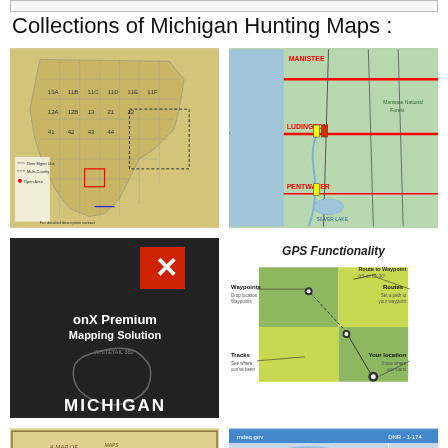Collections of Michigan Hunting Maps :
[Figure (map): Michigan Deer Management Unit (DMU) map showing numbered management zones across the Lower Peninsula with legend]
[Figure (map): Road map of Michigan showing Manistee, Ludington, Pentwater area with highways, Lake Michigan shoreline, colored route markers]
[Figure (illustration): onX Premium Mapping Solution Michigan - dark background product card with red X logo and Michigan outline silhouette]
[Figure (infographic): GPS Functionality diagram showing Waypoints, Routes, Tracks, and Your Location with color-coded map background]
[Figure (map): Antique/historical map of Michigan lower peninsula with old-style cartography]
[Figure (map): Online map screenshot showing Michigan region with blue header bar]